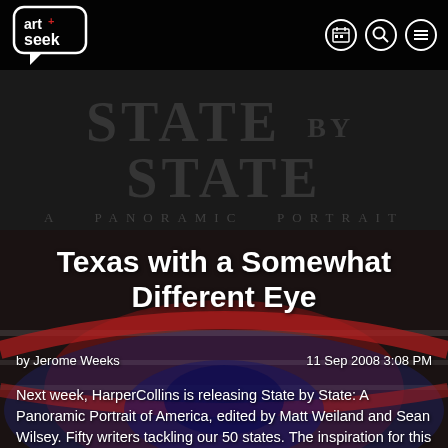[Figure (screenshot): ArtSeek website screenshot with dark header bar containing the Art+Seek logo and navigation icons (calendar, search, menu). Background shows 'STATE by STATE: A Panoramic Portrait of America' book cover with red/white/blue imagery.]
Texas with a Somewhat Different Eye
by Jerome Weeks
11 Sep 2008 3:08 PM
Next week, HarperCollins is releasing State by State: A Panoramic Portrait of America, edited by Matt Weiland and Sean Wilsey. Fifty writers tackling our 50 states. The inspiration for this